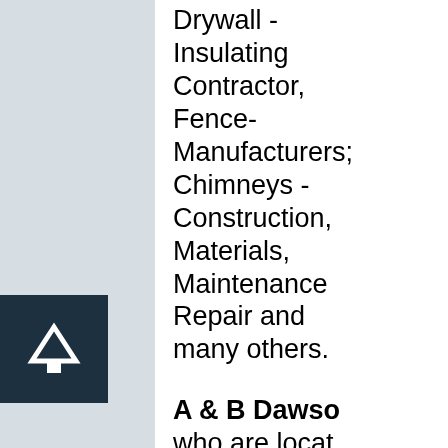Drywall - Insulating Contractor, Fence-Manufacturers; Chimneys - Construction, Materials, Maintenance Repair and many others.
A & B Dawso who are locat at Unit 10/Lomond Trade Centre, Lomond Industrial Estate, Alexandria, East Dunbartonshi G83 0TL and